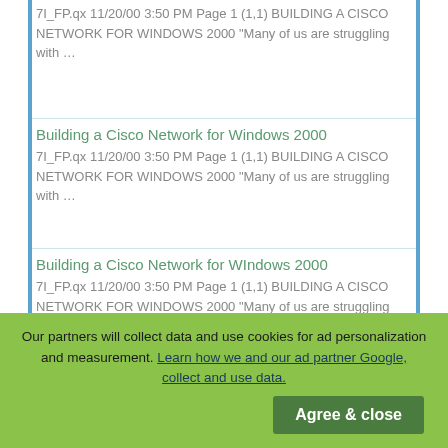7I_FP.qx 11/20/00 3:50 PM Page 1 (1,1) BUILDING A CISCO NETWORK FOR WINDOWS 2000 “Many of us are struggling with …
Building a Cisco Network for Windows 2000
7I_FP.qx 11/20/00 3:50 PM Page 1 (1,1) BUILDING A CISCO NETWORK FOR WINDOWS 2000 “Many of us are struggling with …
Building a Cisco Network for WIndows 2000
7I_FP.qx 11/20/00 3:50 PM Page 1 (1,1) BUILDING A CISCO NETWORK FOR WINDOWS 2000 “Many of us are struggling with …
Building a Cisco Network for WIndows 2000
Our partners will collect data and use cookies for ad personalization and measurement. Learn how we and our ad partner Google, collect and use data.
Agree & close